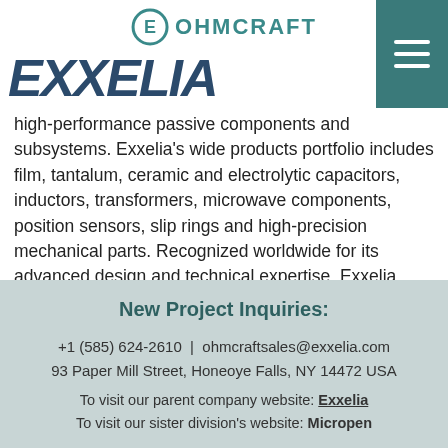[Figure (logo): Exxelia wordmark logo in dark blue italic bold font, and Ohmcraft logo with circular E icon in teal and 'OHMCRAFT' text in teal]
high-performance passive components and subsystems. Exxelia’s wide products portfolio includes film, tantalum, ceramic and electrolytic capacitors, inductors, transformers, microwave components, position sensors, slip rings and high-precision mechanical parts. Recognized worldwide for its advanced design and technical expertise, Exxelia develops both “catalog” and “custom” products exclusively serving high-reliability markets such as aerospace, defense, medical, transportation, telecommunication infrastructure and advance industrial applications. Additional information can be found at https://exxelia.com.
New Project Inquiries:
+1 (585) 624-2610  |  ohmcraftsales@exxelia.com
93 Paper Mill Street, Honeoye Falls, NY 14472 USA
To visit our parent company website: Exxelia
To visit our sister division’s website: Micropen